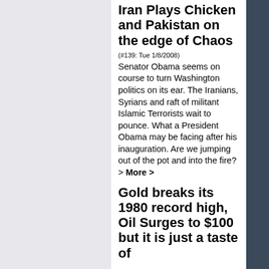Iran Plays Chicken and Pakistan on the edge of Chaos
(#139: Tue 1/8/2008) Senator Obama seems on course to turn Washington politics on its ear. The Iranians, Syrians and raft of militant Islamic Terrorists wait to pounce. What a President Obama may be facing after his inauguration. Are we jumping out of the pot and into the fire? > More >
Gold breaks its 1980 record high, Oil Surges to $100 but it is just a taste of